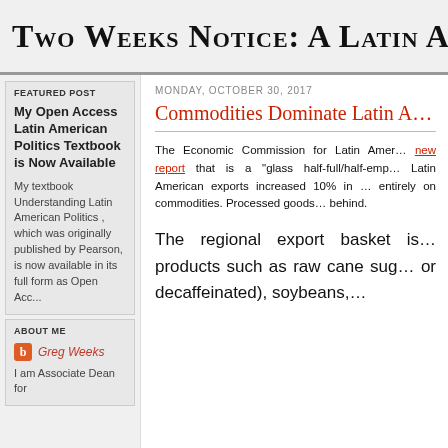Two Weeks Notice: A Latin Americ...
FEATURED POST
My Open Access Latin American Politics Textbook is Now Available
My textbook Understanding Latin American Politics , which was originally published by Pearson, is now available in its full form as Open Acc...
ABOUT ME
Greg Weeks
I am Associate Dean for
MONDAY, OCTOBER 30, 2017
Commodities Dominate Latin A...
The Economic Commission for Latin Amer... new report that is a "glass half-full/half-emp... Latin American exports increased 10% in ... entirely on commodities. Processed goods... behind.
The regional export basket is... products such as raw cane sug... or decaffeinated), soybeans,...